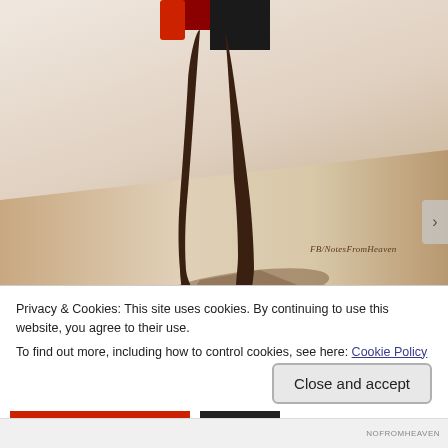[Figure (photo): A photo of a person's bare legs and feet standing on a light-colored floor with a long shadow, wearing dark clothing (red and black visible at the top). Watermark reads 'FB/NotesFromHeaven' in the lower right of the image.]
I'm going to tell you why I posted this. I used to
Privacy & Cookies: This site uses cookies. By continuing to use this website, you agree to their use.
To find out more, including how to control cookies, see here: Cookie Policy
Close and accept